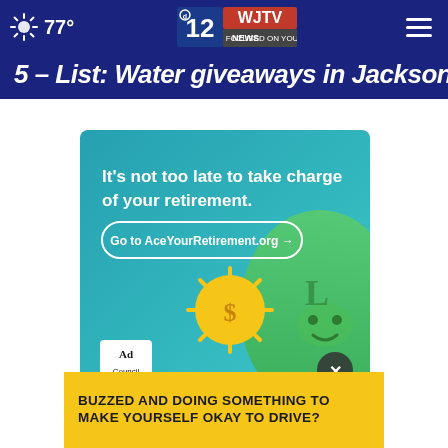77° WJTV 12 News Focused On You
5 - List: Water giveaways in Jackson
[Figure (infographic): AARP and Ad Council advertisement banner. Teal/green gradient background featuring bold white text reading 'It's not too late to take charge of your retirement.' with a rounded pill button 'Go to AceYourRetirement.org →'. Ad Council and AARP logos in bottom left. Illustrated coin character with dollar sign and green smiley character on the right. Close button (X) in bottom right corner.]
BUZZED AND DOING SOMETHING TO MAKE YOURSELF OKAY TO DRIVE?